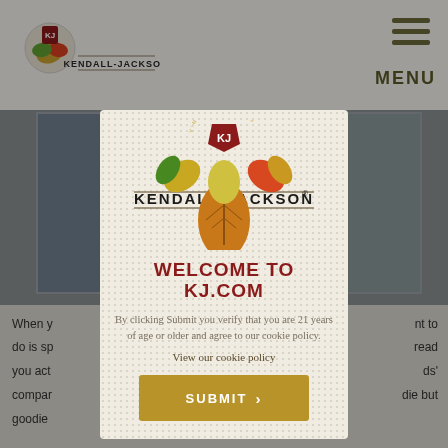[Figure (screenshot): Kendall-Jackson website background with navigation bar showing KJ logo and hamburger menu with MENU label, blurred content panels with food/wine images, and partial article text at bottom]
[Figure (logo): Kendall-Jackson Vineyard Estates logo with autumn leaf motif and shield emblem with KJ initials]
WELCOME TO KJ.COM
By clicking Submit you verify that you are 21 years of age or older and agree to our cookie policy.
View our cookie policy
SUBMIT